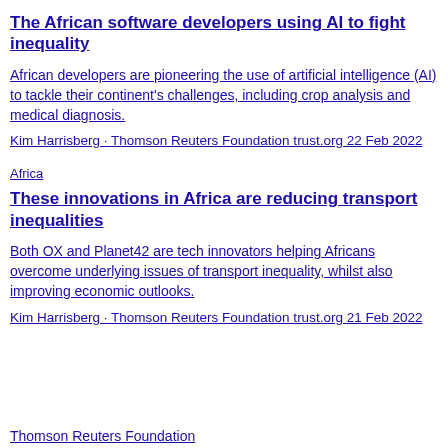The African software developers using AI to fight inequality
African developers are pioneering the use of artificial intelligence (AI) to tackle their continent's challenges, including crop analysis and medical diagnosis.
Kim Harrisberg · Thomson Reuters Foundation trust.org 22 Feb 2022
Africa
These innovations in Africa are reducing transport inequalities
Both OX and Planet42 are tech innovators helping Africans overcome underlying issues of transport inequality, whilst also improving economic outlooks.
Kim Harrisberg · Thomson Reuters Foundation trust.org 21 Feb 2022
Thomson Reuters Foundation